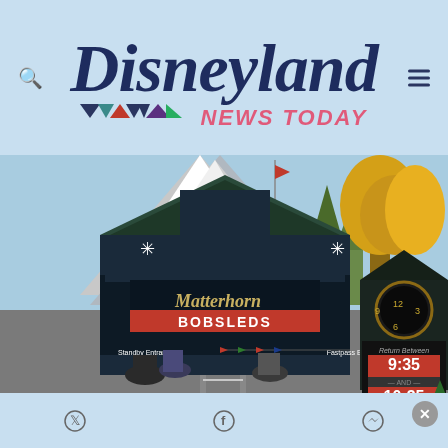[Figure (logo): Disneyland News Today logo with colorful pennants]
[Figure (photo): Matterhorn Bobsleds entrance at Disneyland with Return Between sign showing 9:35 and 10:35]
Twitter share, Facebook share, Messenger share buttons with close X button